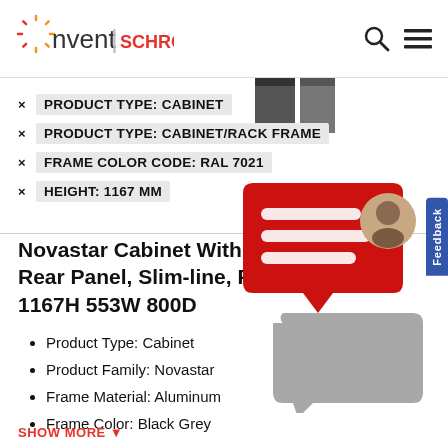nVent SCHROFF
× PRODUCT TYPE: CABINET
× PRODUCT TYPE: CABINET/RACK FRAME
× FRAME COLOR CODE: RAL 7021
× HEIGHT: 1167 MM
Novastar Cabinet With Rear Panel, Slim-line, R 1167H 553W 800D
Product Type: Cabinet
Product Family: Novastar
Frame Material: Aluminum
Frame Color: Black Grey
SHOW MORE